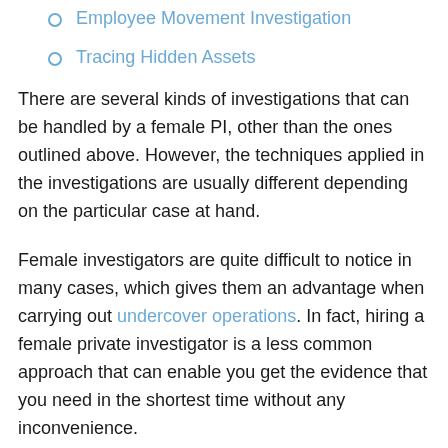Employee Movement Investigation
Tracing Hidden Assets
There are several kinds of investigations that can be handled by a female PI, other than the ones outlined above. However, the techniques applied in the investigations are usually different depending on the particular case at hand.
Female investigators are quite difficult to notice in many cases, which gives them an advantage when carrying out undercover operations. In fact, hiring a female private investigator is a less common approach that can enable you get the evidence that you need in the shortest time without any inconvenience.